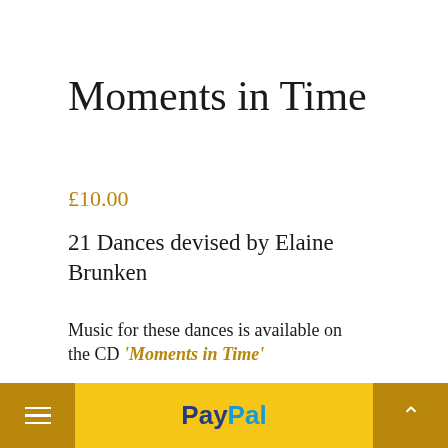Moments in Time
£10.00
21 Dances devised by Elaine Brunken
Music for these dances is available on the CD 'Moments in Time' played by Jim Lindsay, Muriel Johnstone and Keith Smith
1  ADD TO BASKET
[Figure (logo): PayPal logo with blue 'Pay' and light-blue 'Pal' text on gold bar]